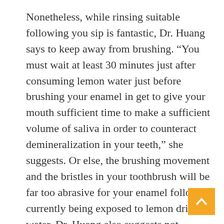Nonetheless, while rinsing suitable following you sip is fantastic, Dr. Huang says to keep away from brushing. “You must wait at least 30 minutes just after consuming lemon water just before brushing your enamel in get to give your mouth sufficient time to make a sufficient volume of saliva in order to counteract demineralization in your teeth,” she suggests. Or else, the brushing movement and the bristles in your toothbrush will be far too abrasive for your enamel following currently being exposed to lemon drinking water. Dr. Huang also suggests not skimping on flossing and brushing 2 times daily sustain excellent oral cleanliness.

Finally, you can consider making use of a water flosser, as they’re fantastic oral hygiene resources that clean up off foodstuff deposits on the tooth